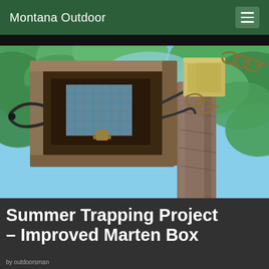Montana Outdoor
[Figure (photo): Upward-looking view of a wooden marten trap box mounted on a tree trunk, with a metal bait container on the right side, chain and trap mechanism visible, surrounded by green foliage and blue sky in the background]
Summer Trapping Project – Improved Marten Box
by outdoorsman